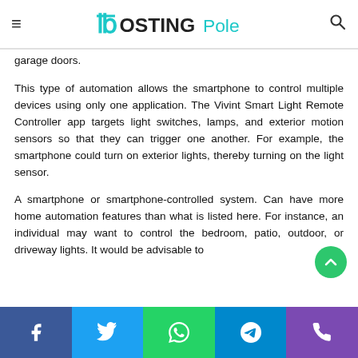PostingPole
garage doors.
This type of automation allows the smartphone to control multiple devices using only one application. The Vivint Smart Light Remote Controller app targets light switches, lamps, and exterior motion sensors so that they can trigger one another. For example, the smartphone could turn on exterior lights, thereby turning on the light sensor.
A smartphone or smartphone-controlled system. Can have more home automation features than what is listed here. For instance, an individual may want to control the bedroom, patio, outdoor, or driveway lights. It would be advisable to
Facebook Twitter WhatsApp Telegram Phone